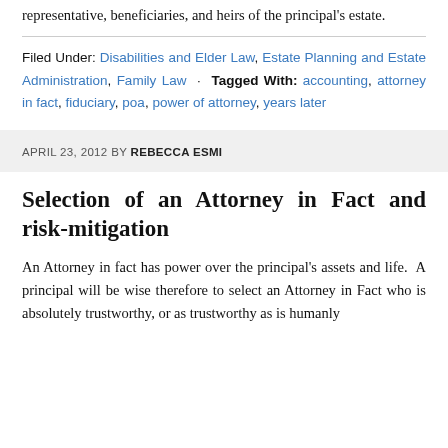representative, beneficiaries, and heirs of the principal's estate.
Filed Under: Disabilities and Elder Law, Estate Planning and Estate Administration, Family Law · Tagged With: accounting, attorney in fact, fiduciary, poa, power of attorney, years later
APRIL 23, 2012 BY REBECCA ESMI
Selection of an Attorney in Fact and risk-mitigation
An Attorney in fact has power over the principal's assets and life. A principal will be wise therefore to select an Attorney in Fact who is absolutely trustworthy, or as trustworthy as is humanly